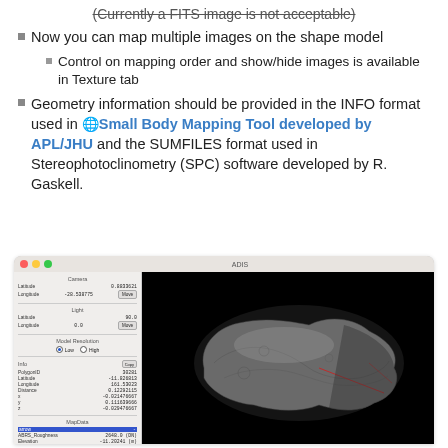(Currently a FITS image is not acceptable)
Now you can map multiple images on the shape model
Control on mapping order and show/hide images is available in Texture tab
Geometry information should be provided in the INFO format used in 🌐 Small Body Mapping Tool developed by APL/JHU and the SUMFILES format used in Stereophotoclinometry (SPC) software developed by R. Gaskell.
[Figure (screenshot): Screenshot of ADIS software showing a 3D asteroid shape model (resembling Eros) on a black background in the right panel, and a left panel with Camera controls (Latitude: 0.8833621, Longitude: -28.538775, Move button), Light controls (Latitude: 90.0, Longitude: 0.0, Move button), Model Resolution (Low/High radio buttons), Info section (PolygonID: 30281, Latitude: -11.826813, Longitude: 161.53023, Distance: 0.12292115, x: -0.021476667, y: 0.111639666, z: -0.029476667) and MapData section with rows including arrow, ABRS_Roughness: 2648.0 (DN), Elevation: -11.20241 (m), Gravitational_Pote...: 4.4215175e-8 (J...), Surface_Slope: 3.226267 (deg), ITAR_Diss_ount: 201.0 (nmad), MRI_Albedo: 0.387099 (-)]